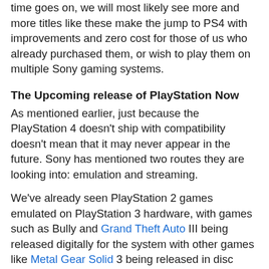time goes on, we will most likely see more and more titles like these make the jump to PS4 with improvements and zero cost for those of us who already purchased them, or wish to play them on multiple Sony gaming systems.
The Upcoming release of PlayStation Now
As mentioned earlier, just because the PlayStation 4 doesn't ship with compatibility doesn't mean that it may never appear in the future. Sony has mentioned two routes they are looking into: emulation and streaming.
We've already seen PlayStation 2 games emulated on PlayStation 3 hardware, with games such as Bully and Grand Theft Auto III being released digitally for the system with other games like Metal Gear Solid 3 being released in disc form. With this approach, it's up to the developer and publisher to take the time to make their back catalog available for the PlayStation 4; while we'll see some games emulated, it will only be a fraction of the total library. Emulation may also present new glitches or bugs not